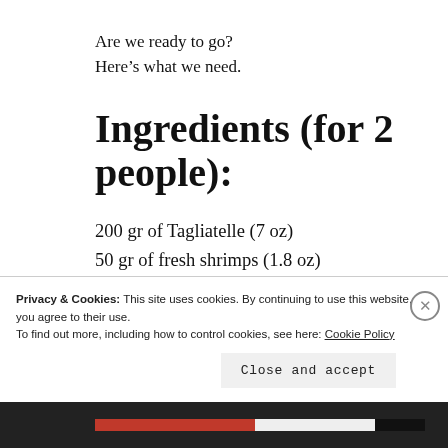Are we ready to go?
Here's what we need.
Ingredients (for 2 people):
200 gr of Tagliatelle (7 oz)
50 gr of fresh shrimps (1.8 oz)
Half an onion
Half a stalk of celery
Half a carrot
Privacy & Cookies: This site uses cookies. By continuing to use this website, you agree to their use.
To find out more, including how to control cookies, see here: Cookie Policy
Close and accept